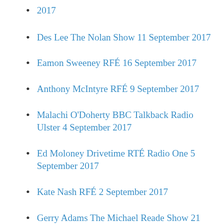2017
Des Lee The Nolan Show 11 September 2017
Eamon Sweeney RFÉ 16 September 2017
Anthony McIntyre RFÉ 9 September 2017
Malachi O'Doherty BBC Talkback Radio Ulster 4 September 2017
Ed Moloney Drivetime RTÉ Radio One 5 September 2017
Kate Nash RFÉ 2 September 2017
Gerry Adams The Michael Reade Show 21